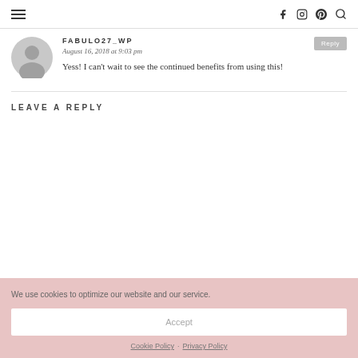Navigation header with hamburger menu and social icons (f, instagram, pinterest) and search
FABULO27_WP
August 16, 2018 at 9:03 pm
Yess! I can't wait to see the continued benefits from using this!
LEAVE A REPLY
We use cookies to optimize our website and our service.
Accept
Cookie Policy · Privacy Policy